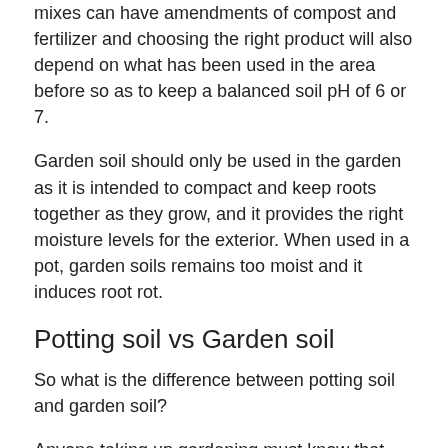mixes can have amendments of compost and fertilizer and choosing the right product will also depend on what has been used in the area before so as to keep a balanced soil pH of 6 or 7.
Garden soil should only be used in the garden as it is intended to compact and keep roots together as they grow, and it provides the right moisture levels for the exterior. When used in a pot, garden soils remains too moist and it induces root rot.
Potting soil vs Garden soil
So what is the difference between potting soil and garden soil?
Anyone taking up gardening must know that the type of action taken dictates the type of products for use. In this case, the name is the best indicator of what goes